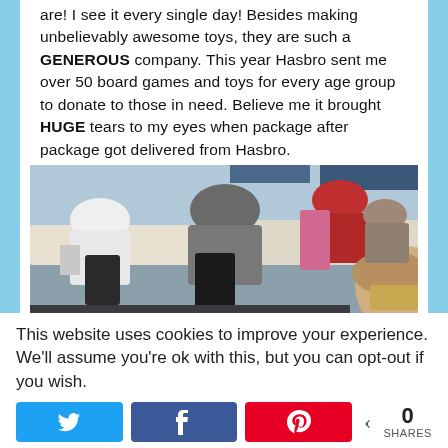are! I see it every single day! Besides making unbelievably awesome toys, they are such a GENEROUS company. This year Hasbro sent me over 50 board games and toys for every age group to donate to those in need. Believe me it brought HUGE tears to my eyes when package after package got delivered from Hasbro.
[Figure (photo): Indoor event scene with people seated at tables, a child with blonde hair visible in the foreground, others in the background at what appears to be a community or charity event.]
This website uses cookies to improve your experience. We'll assume you're ok with this, but you can opt-out if you wish.
0 SHARES (social share buttons: Twitter, Facebook, Pinterest)